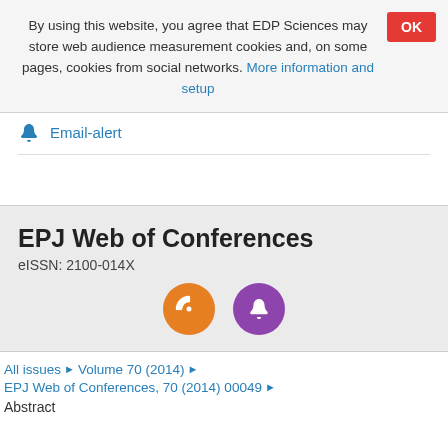By using this website, you agree that EDP Sciences may store web audience measurement cookies and, on some pages, cookies from social networks. More information and setup
Email-alert
EPJ Web of Conferences
eISSN: 2100-014X
[Figure (other): Two circular icon buttons: orange RSS feed icon and purple notification bell icon]
All issues ▶ Volume 70 (2014) ▶ EPJ Web of Conferences, 70 (2014) 00049 ▶ Abstract